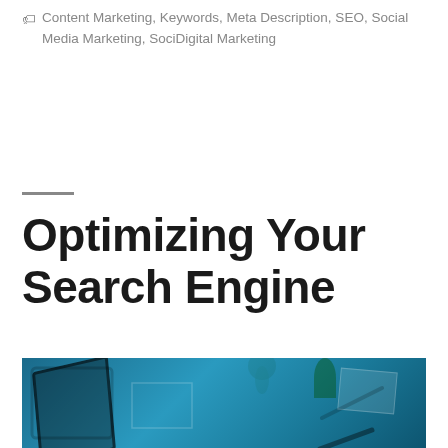🏷 Content Marketing, Keywords, Meta Description, SEO, Social Media Marketing, SociDigital Marketing
Optimizing Your Search Engine
[Figure (photo): A desk scene with a tablet, notebook, pen, and plant, all with a blue tint overlay, representing digital marketing and SEO work environment.]